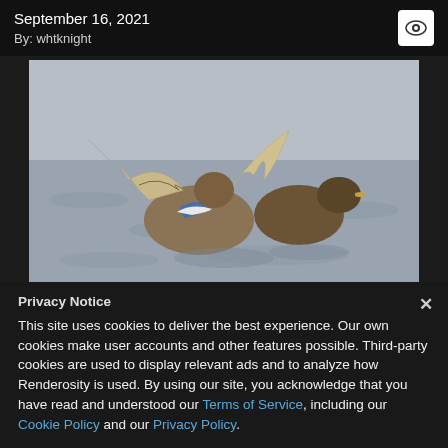September 16, 2021
By: whtknight
[Figure (photo): Two mallard ducks on water, one with wings spread wide showing blue and white wing markings, the other duck sitting calmly beside it. Grey rippled water background.]
Privacy Notice
This site uses cookies to deliver the best experience. Our own cookies make user accounts and other features possible. Third-party cookies are used to display relevant ads and to analyze how Renderosity is used. By using our site, you acknowledge that you have read and understood our Terms of Service, including our Cookie Policy and our Privacy Policy.